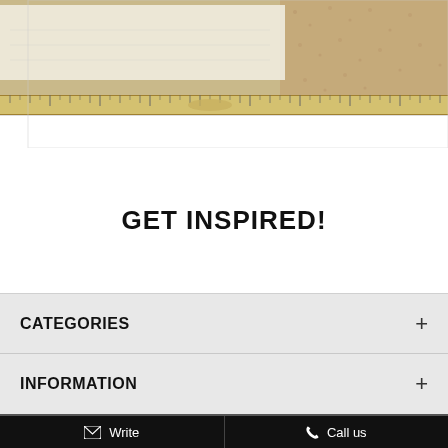[Figure (photo): A photo showing a ruler, paper/document sheet, and cork board texture — a crafts/stationery-themed image cropped at the top of the page.]
GET INSPIRED!
CATEGORIES +
INFORMATION +
✉ Write   📞 Call us